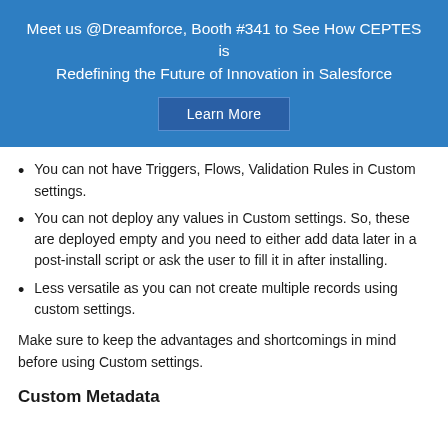[Figure (infographic): Blue banner with text 'Meet us @Dreamforce, Booth #341 to See How CEPTES is Redefining the Future of Innovation in Salesforce' and a 'Learn More' button]
You can not have Triggers, Flows, Validation Rules in Custom settings.
You can not deploy any values in Custom settings. So, these are deployed empty and you need to either add data later in a post-install script or ask the user to fill it in after installing.
Less versatile as you can not create multiple records using custom settings.
Make sure to keep the advantages and shortcomings in mind before using Custom settings.
Custom Metadata